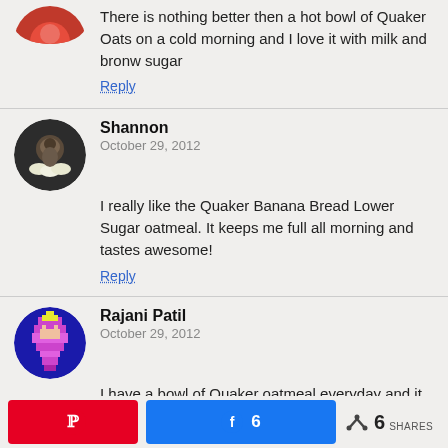There is nothing better then a hot bowl of Quaker Oats on a cold morning and I love it with milk and bronw sugar
Reply
Shannon
October 29, 2012
I really like the Quaker Banana Bread Lower Sugar oatmeal. It keeps me full all morning and tastes awesome!
Reply
Rajani Patil
October 29, 2012
I have a bowl of Quaker oatmeal everyday and it keeps me feel full longer with all the benefits of fiber and nutrients and this helps me maintain my weight